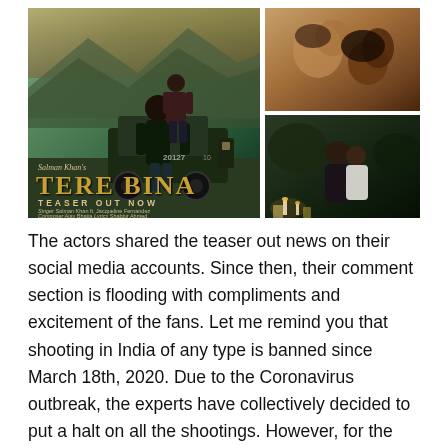[Figure (photo): Collage of three images related to Salman Khan's music video 'Tere Bina'. Left large image: Salman Khan standing in front of a jeep with a woman standing on the vehicle behind him, against a scenic mountain/sunset backdrop. Movie poster overlay reads 'Salman Khan's TERE BINA TEASER OUT NOW' with credits 'Singer Salman Khan ft. Jacqueline Fernandez, Composer Ajay Bhatia Lyrics Shabbir Ahmed'. Top-right image: close-up of two people in an intimate/romantic pose. Bottom-right image: couple embracing in a dimly lit outdoor setting with candles.]
The actors shared the teaser out news on their social media accounts. Since then, their comment section is flooding with compliments and excitement of the fans. Let me remind you that shooting in India of any type is banned since March 18th, 2020. Due to the Coronavirus outbreak, the experts have collectively decided to put a halt on all the shootings. However, for the megastar